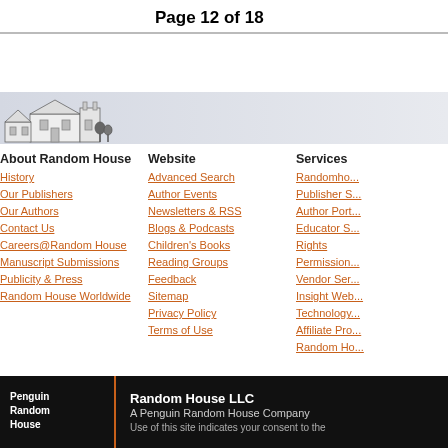Page 12 of 18
[Figure (illustration): Random House building/house logo banner with grey gradient background]
About Random House
History
Our Publishers
Our Authors
Contact Us
Careers@Random House
Manuscript Submissions
Publicity & Press
Random House Worldwide
Website
Advanced Search
Author Events
Newsletters & RSS
Blogs & Podcasts
Children's Books
Reading Groups
Feedback
Sitemap
Privacy Policy
Terms of Use
Services
Randomho...
Publisher S...
Author Port...
Educator S...
Rights
Permission...
Vendor Ser...
Insight Web...
Technology...
Affiliate Pro...
Random Ho...
[Figure (logo): Penguin Random House logo in white on black background]
Random House LLC
A Penguin Random House Company
Use of this site indicates your consent to the